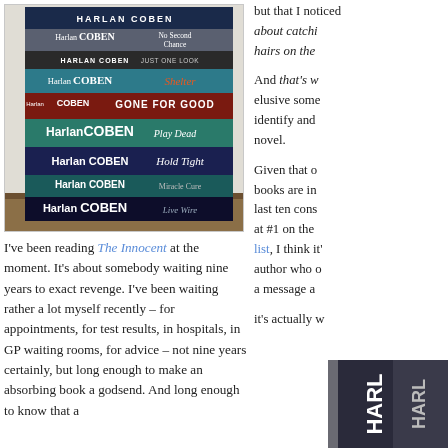[Figure (photo): Stack of Harlan Coben books photographed from the side, showing spines: No Second Chance, Just One Look, Shelter, Gone For Good, Play Dead, Hold Tight, Miracle Cure, Live Wire]
I've been reading The Innocent at the moment. It's about somebody waiting nine years to exact revenge. I've been waiting rather a lot myself recently – for appointments, for test results, in hospitals, in GP waiting rooms, for advice – not nine years certainly, but long enough to make an absorbing book a godsend. And long enough to know that a
but that I noticed about catching hairs on the
And that's w elusive some identify and novel.
Given that o books are in last ten cons at #1 on the list, I think it' author who o a message a
it's actually w
[Figure (photo): Partial photo of a Harlan Coben book spine showing letters HARL]